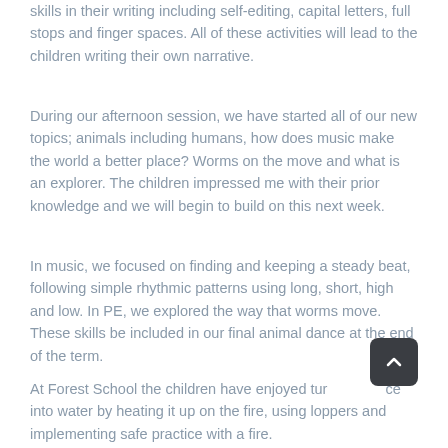skills in their writing including self-editing, capital letters, full stops and finger spaces. All of these activities will lead to the children writing their own narrative.
During our afternoon session, we have started all of our new topics; animals including humans, how does music make the world a better place? Worms on the move and what is an explorer. The children impressed me with their prior knowledge and we will begin to build on this next week.
In music, we focused on finding and keeping a steady beat, following simple rhythmic patterns using long, short, high and low. In PE, we explored the way that worms move. These skills be included in our final animal dance at the end of the term.
At Forest School the children have enjoyed turning ice into water by heating it up on the fire, using loppers and implementing safe practice with a fire.